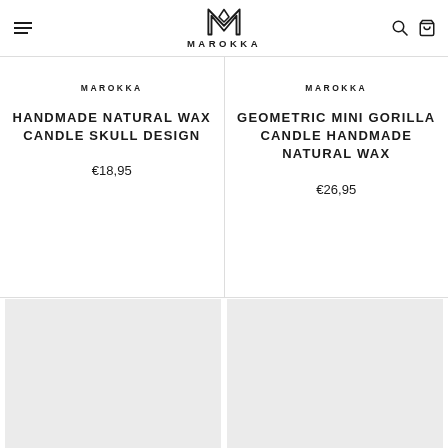MAROKKA
MAROKKA
HANDMADE NATURAL WAX CANDLE SKULL DESIGN
€18,95
MAROKKA
GEOMETRIC MINI GORILLA CANDLE HANDMADE NATURAL WAX
€26,95
[Figure (photo): Product image placeholder (light grey)]
[Figure (photo): Product image placeholder (light grey)]